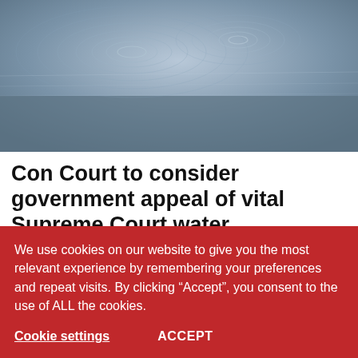[Figure (photo): Close-up photo of water ripples on a calm water surface, showing concentric circular ripple patterns in blue-grey tones]
Agriculture
Con Court to consider government appeal of vital Supreme Court water...
August 24, 2022
Agri SA will be in the Constitutional Court Thursday, 25 August 2022,
We use cookies on our website to give you the most relevant experience by remembering your preferences and repeat visits. By clicking “Accept”, you consent to the use of ALL the cookies.
Cookie settings   ACCEPT